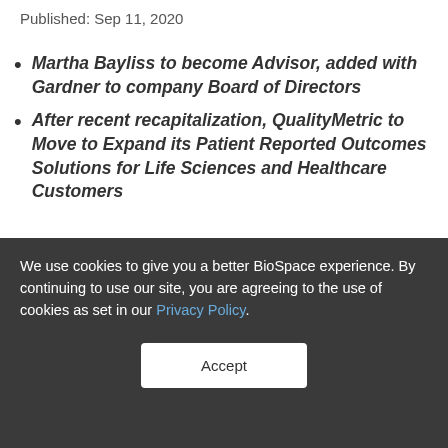Published: Sep 11, 2020
Martha Bayliss to become Advisor, added with Gardner to company Board of Directors
After recent recapitalization, QualityMetric to Move to Expand its Patient Reported Outcomes Solutions for Life Sciences and Healthcare Customers
NEW YORK, Sept. 11, 2020 (GLOBE NEWSWIRE) -- QualityMetric ("QM"), an industry-leader of
We use cookies to give you a better BioSpace experience. By continuing to use our site, you are agreeing to the use of cookies as set in our Privacy Policy.